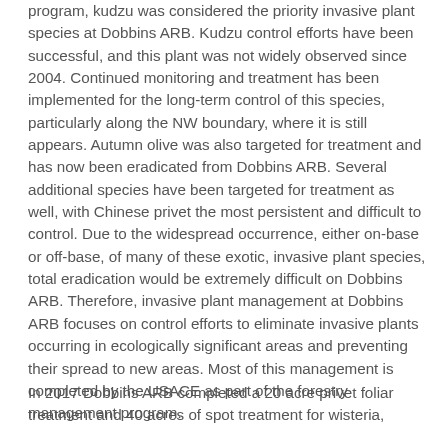program, kudzu was considered the priority invasive plant species at Dobbins ARB. Kudzu control efforts have been successful, and this plant was not widely observed since 2004. Continued monitoring and treatment has been implemented for the long-term control of this species, particularly along the NW boundary, where it is still appears. Autumn olive was also targeted for treatment and has now been eradicated from Dobbins ARB. Several additional species have been targeted for treatment as well, with Chinese privet the most persistent and difficult to control. Due to the widespread occurrence, either on-base or off-base, of many of these exotic, invasive plant species, total eradication would be extremely difficult on Dobbins ARB. Therefore, invasive plant management at Dobbins ARB focuses on control efforts to eliminate invasive plants occurring in ecologically significant areas and preventing their spread to new areas. Most of this management is completed by the USACE as part of the forestry management program.
In 2017 Dobbins ARB completed a 20 acre privet foliar treatment and 40 acres of spot treatment for wisteria,